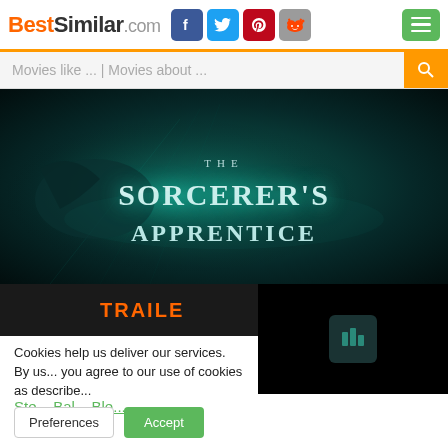BestSimilar.com
Movies like ... | Movies about ...
[Figure (photo): Movie title card for 'The Sorcerer's Apprentice' on a dark teal magical background with a dragon motif]
TRAILER
Cookies help us deliver our services. By us... you agree to our use of cookies as describe...
Preferences
Accept